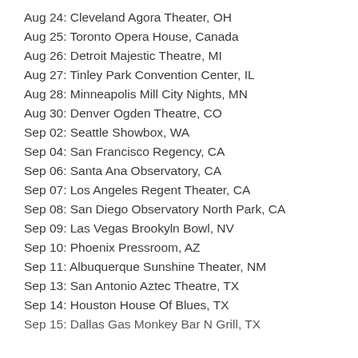Aug 24: Cleveland Agora Theater, OH
Aug 25: Toronto Opera House, Canada
Aug 26: Detroit Majestic Theatre, MI
Aug 27: Tinley Park Convention Center, IL
Aug 28: Minneapolis Mill City Nights, MN
Aug 30: Denver Ogden Theatre, CO
Sep 02: Seattle Showbox, WA
Sep 04: San Francisco Regency, CA
Sep 06: Santa Ana Observatory, CA
Sep 07: Los Angeles Regent Theater, CA
Sep 08: San Diego Observatory North Park, CA
Sep 09: Las Vegas Brookyln Bowl, NV
Sep 10: Phoenix Pressroom, AZ
Sep 11: Albuquerque Sunshine Theater, NM
Sep 13: San Antonio Aztec Theatre, TX
Sep 14: Houston House Of Blues, TX
Sep 15: Dallas Gas Monkey Bar N Grill, TX